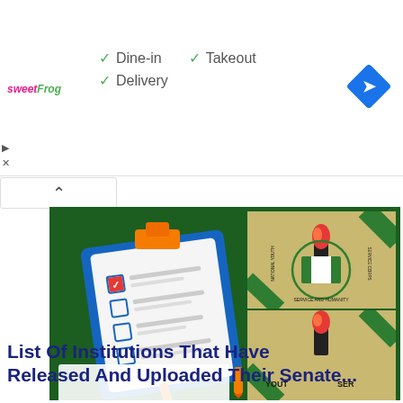[Figure (screenshot): Advertisement bar for sweetFrog restaurant showing Dine-in, Takeout, Delivery options with checkmarks and a navigation/directions icon]
[Figure (illustration): Green background image showing a clipboard with checklist on the left and two NYSC (National Youth Service Corps) logos/patches on the right]
List Of Institutions That Have Released And Uploaded Their Senate...